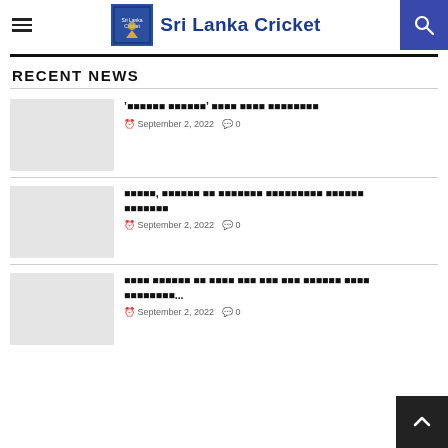Sri Lanka Cricket
RECENT NEWS
[Sinhala title 1] - September 2, 2022 - 0 comments
[Sinhala title 2] - September 2, 2022 - 0 comments
[Sinhala title 3]... - September 2, 2022 - 0 comments